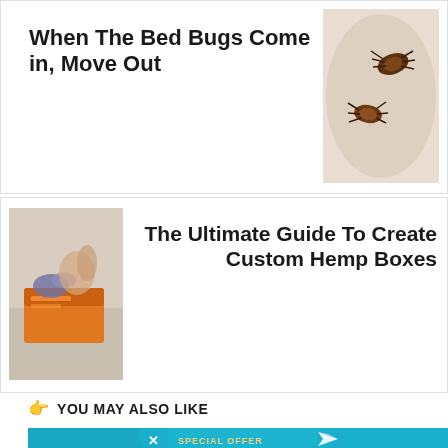PREVIOUS ARTICLE
When The Bed Bugs Come in, Move Out
[Figure (photo): Close-up photo of bed bugs on a white fabric surface]
[Figure (photo): Person playing with a puzzle box with an orange puzzle box on a table]
NEXT ARTICLE
The Ultimate Guide To Create Custom Hemp Boxes
YOU MAY ALSO LIKE
[Figure (infographic): Blue banner with 'SPECIAL OFFER' text and decorative elements]